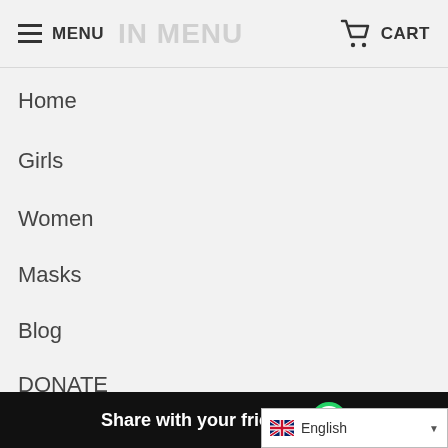MENU  MAIN MENU  CART
Home
Girls
Women
Masks
Blog
DONATE
COMPANY
Privacy Policy
Shipping & Returns
FAQ
Cash On Delivery
Share with your friends
English